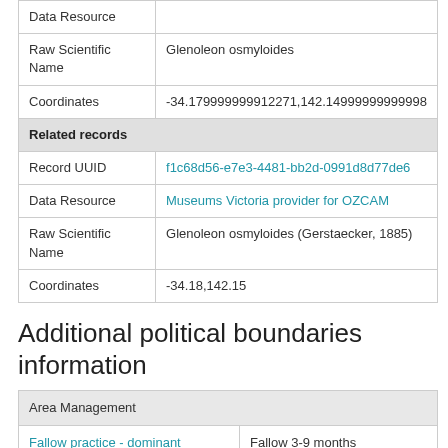| Field | Value |
| --- | --- |
| Data Resource |  |
| Raw Scientific Name | Glenoleon osmyloides |
| Coordinates | -34.179999999912271,142.14999999999998 |
| Related records |  |
| Record UUID | f1c68d56-e7e3-4481-bb2d-0991d8d77de6 |
| Data Resource | Museums Victoria provider for OZCAM |
| Raw Scientific Name | Glenoleon osmyloides (Gerstaecker, 1885) |
| Coordinates | -34.18,142.15 |
Additional political boundaries information
| Field | Value |
| --- | --- |
| Area Management |  |
| Fallow practice - dominant (area) | Fallow 3-9 months |